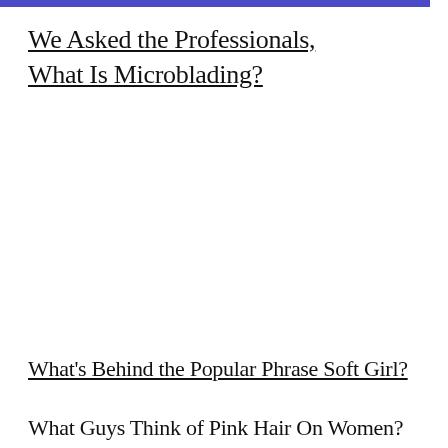We Asked the Professionals, What Is Microblading?
What's Behind the Popular Phrase Soft Girl?
What Guys Think of Pink Hair On Women?